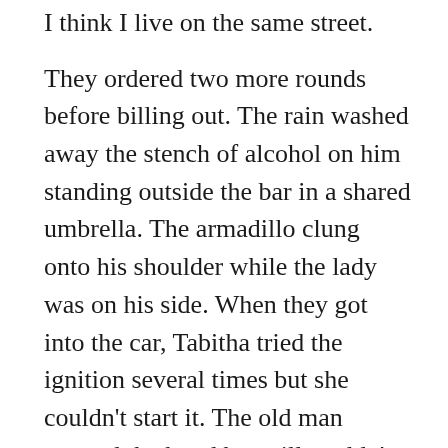I think I live on the same street.
They ordered two more rounds before billing out. The rain washed away the stench of alcohol on him standing outside the bar in a shared umbrella. The armadillo clung onto his shoulder while the lady was on his side. When they got into the car, Tabitha tried the ignition several times but she couldn’t start it. The old man popped the hood but still couldn’t do anything to fix it.
“We can’t say we didn’t try.” The old man giving up.
“Should we try the bar again?” Suggested the armadillo.
It was almost six in the morning, but the